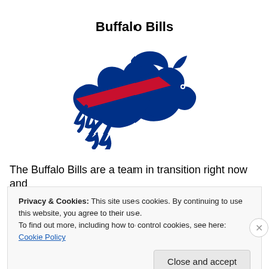Buffalo Bills
[Figure (logo): Buffalo Bills NFL team logo — a charging blue bison with a red stripe/slash across its body, facing right]
The Buffalo Bills are a team in transition right now and
Privacy & Cookies: This site uses cookies. By continuing to use this website, you agree to their use.
To find out more, including how to control cookies, see here: Cookie Policy
Close and accept